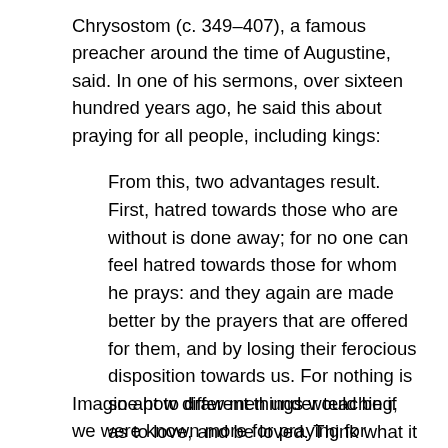Chrysostom (c. 349–407), a famous preacher around the time of Augustine, said. In one of his sermons, over sixteen hundred years ago, he said this about praying for all people, including kings:
From this, two advantages result. First, hatred towards those who are without is done away; for no one can feel hatred towards those for whom he prays: and they again are made better by the prayers that are offered for them, and by losing their ferocious disposition towards us. For nothing is so apt to draw men under teaching, as to love, and be loved. Think what it was for those who persecuted, scourged, banished, and slaughtered the Christians, to hear that those whom they treated so barbarously offered fervent prayers to God for them.[3]
Imagine how different things would be if we were known more for praying for people who are opposed to